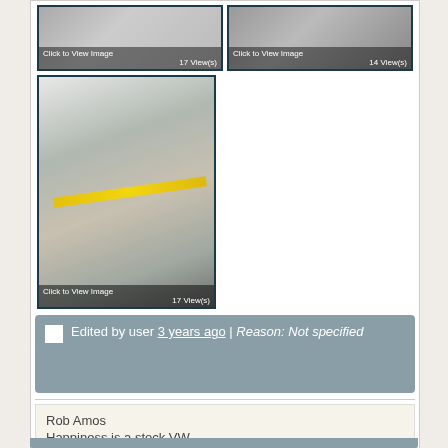[Figure (photo): Two photo thumbnails at top, each with 'Click to View Image' label. Left shows 17 View(s), right shows 14 View(s).]
[Figure (photo): Large photo thumbnail showing a rock surface with a yellow tape measure across it. Label: 'Click to View Image', 17 View(s).]
Edited by user 3 years ago | Reason: Not specified
Rob Amos
Happiness is a stock VW